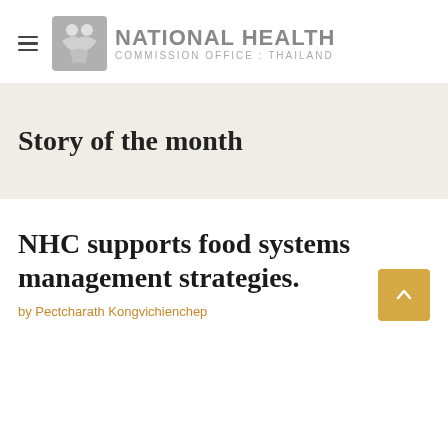[Figure (logo): National Health Commission Office Thailand logo with stylized icon and text]
Story of the month
NHC supports food systems management strategies.
by Pectcharath Kongvichienchep